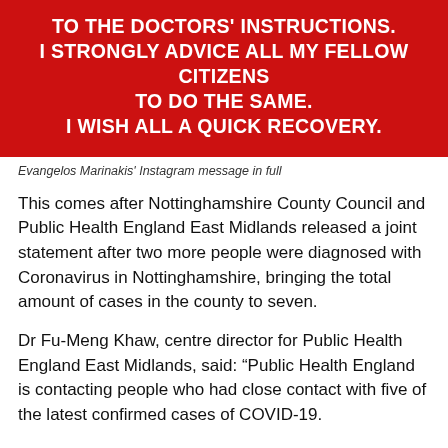[Figure (other): Red banner with white bold text reading: TO THE DOCTORS' INSTRUCTIONS. I STRONGLY ADVICE ALL MY FELLOW CITIZENS TO DO THE SAME. I WISH ALL A QUICK RECOVERY.]
Evangelos Marinakis' Instagram message in full
This comes after Nottinghamshire County Council and Public Health England East Midlands released a joint statement after two more people were diagnosed with Coronavirus in Nottinghamshire, bringing the total amount of cases in the county to seven.
Dr Fu-Meng Khaw, centre director for Public Health England East Midlands, said: “Public Health England is contacting people who had close contact with five of the latest confirmed cases of COVID-19.